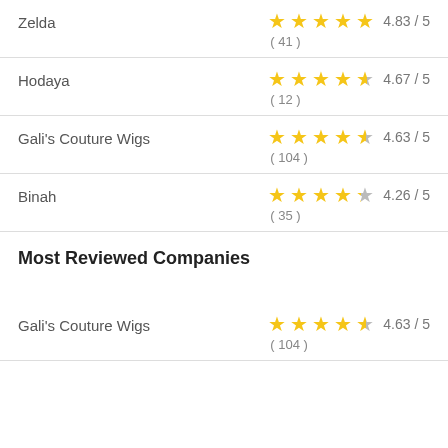Zelda 4.83 / 5 ( 41 )
Hodaya 4.67 / 5 ( 12 )
Gali's Couture Wigs 4.63 / 5 ( 104 )
Binah 4.26 / 5 ( 35 )
Most Reviewed Companies
Gali's Couture Wigs 4.63 / 5 ( 104 )